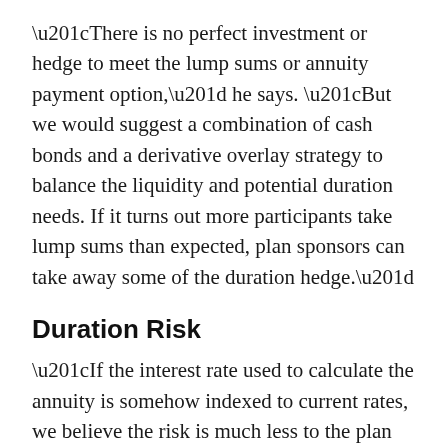“There is no perfect investment or hedge to meet the lump sums or annuity payment option,” he says. “But we would suggest a combination of cash bonds and a derivative overlay strategy to balance the liquidity and potential duration needs. If it turns out more participants take lump sums than expected, plan sponsors can take away some of the duration hedge.”
Duration Risk
“If the interest rate used to calculate the annuity is somehow indexed to current rates, we believe the risk is much less to the plan sponsor. But even when this is the case (it often isn’t), there can still be problems: 1) plans that have